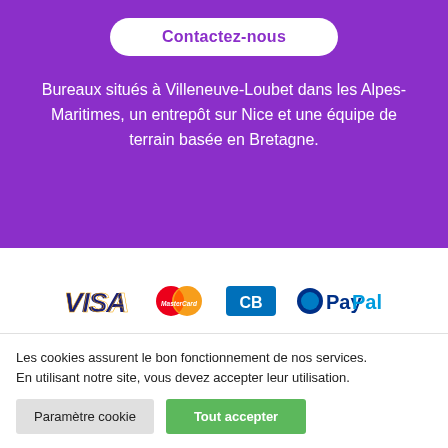Contactez-nous
Bureaux situés à Villeneuve-Loubet dans les Alpes-Maritimes, un entrepôt sur Nice et une équipe de terrain basée en Bretagne.
[Figure (logo): Payment method logos: VISA, MasterCard, CB (Carte Bancaire), PayPal]
Les cookies assurent le bon fonctionnement de nos services. En utilisant notre site, vous devez accepter leur utilisation.
Paramètre cookie
Tout accepter